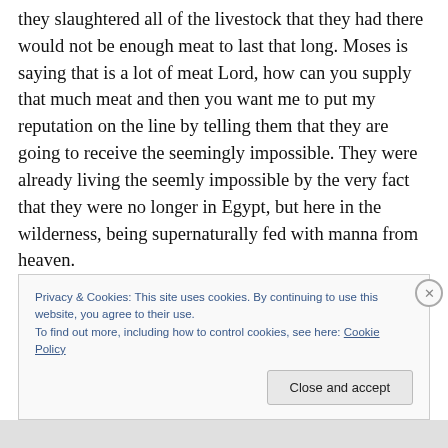they slaughtered all of the livestock that they had there would not be enough meat to last that long. Moses is saying that is a lot of meat Lord, how can you supply that much meat and then you want me to put my reputation on the line by telling them that they are going to receive the seemingly impossible. They were already living the seemly impossible by the very fact that they were no longer in Egypt, but here in the wilderness, being supernaturally fed with manna from heaven.
It is then that God gave Moses this Word concerning what He had spoken that would come to pass. “Is the LORD’s
Privacy & Cookies: This site uses cookies. By continuing to use this website, you agree to their use.
To find out more, including how to control cookies, see here: Cookie Policy
Close and accept